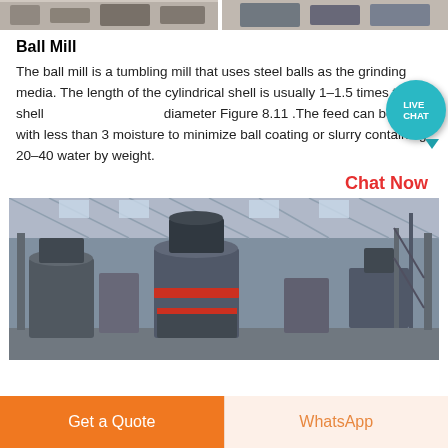[Figure (photo): Top portion of industrial mill machinery images]
Ball Mill
The ball mill is a tumbling mill that uses steel balls as the grinding media. The length of the cylindrical shell is usually 1–1.5 times the shell diameter Figure 8.11 .The feed can be dry with less than 3 moisture to minimize ball coating or slurry containing 20–40 water by weight.
[Figure (infographic): LIVE CHAT bubble overlay]
Chat Now
[Figure (photo): Interior of large industrial factory/warehouse with vertical mill machinery]
Get a Quote
WhatsApp